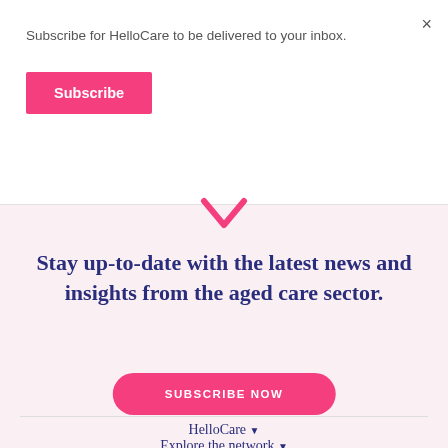Subscribe for HelloCare to be delivered to your inbox.
Subscribe
×
Stay up-to-date with the latest news and insights from the aged care sector.
SUBSCRIBE NOW
HelloCare ▾
Explore the network ▾